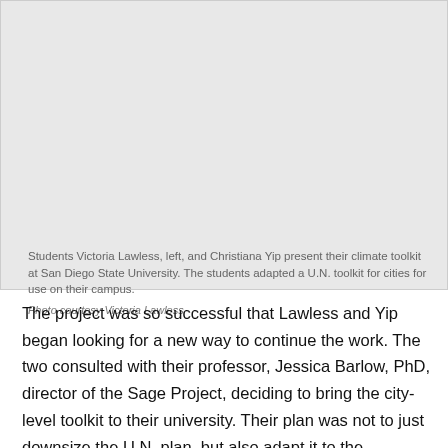[Figure (photo): A light gray placeholder image representing students Victoria Lawless and Christiana Yip presenting their climate toolkit at San Diego State University.]
Students Victoria Lawless, left, and Christiana Yip present their climate toolkit at San Diego State University. The students adapted a U.N. toolkit for cities for use on their campus.
Photo courtesy Victoria Lawless
The project was so successful that Lawless and Yip began looking for a new way to continue the work. The two consulted with their professor, Jessica Barlow, PhD, director of the Sage Project, deciding to bring the city-level toolkit to their university. Their plan was not to just downsize the U.N. plan, but also adapt it to the university environment.